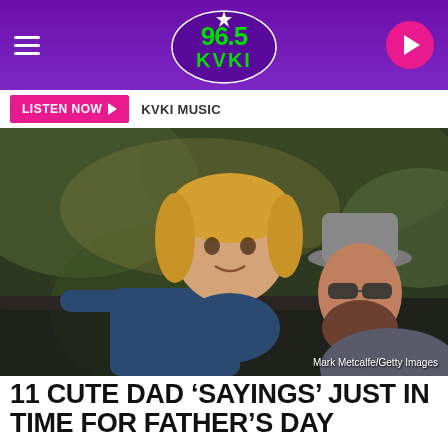96.5 KVKI
LISTEN NOW  KVKI MUSIC
[Figure (photo): A young child with blond hair leans over a railing or car door toward a man wearing sunglasses and a gray hat, photographed outdoors with blurred green background. Credit: Mark Metcalfe/Getty Images]
11 CUTE DAD ‘SAYINGS’ JUST IN TIME FOR FATHER’S DAY